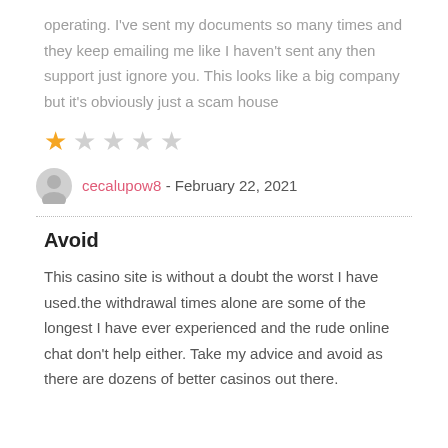operating. I've sent my documents so many times and they keep emailing me like I haven't sent any then support just ignore you. This looks like a big company but it's obviously just a scam house
[Figure (other): Star rating: 1 out of 5 stars (one filled orange star, four empty grey stars)]
cecalupow8 - February 22, 2021
Avoid
This casino site is without a doubt the worst I have used.the withdrawal times alone are some of the longest I have ever experienced and the rude online chat don't help either. Take my advice and avoid as there are dozens of better casinos out there.